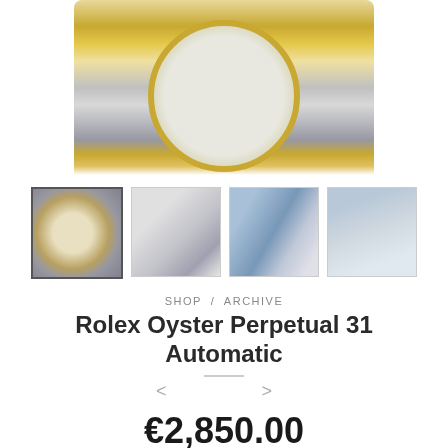[Figure (photo): Close-up top portion of a Rolex Oyster Perpetual watch showing gold bezel and dial with bracelet]
[Figure (photo): Thumbnail row of four watch photos: (1) face close-up with gold bezel selected, (2) two watches side by side, (3) watch at angle, (4) watch face on reflective surface]
SHOP / ARCHIVE
Rolex Oyster Perpetual 31 Automatic
€2,850.00
Out of stock